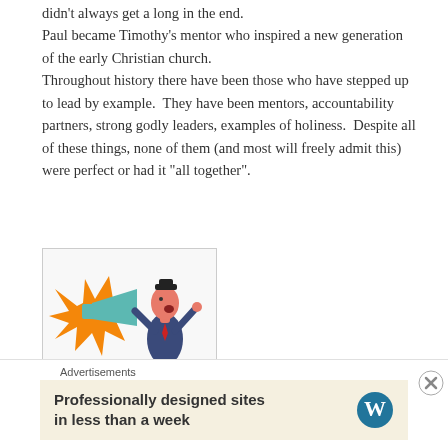didn’t always get a long in the end. Paul became Timothy’s mentor who inspired a new generation of the early Christian church. Throughout history there have been those who have stepped up to lead by example.  They have been mentors, accountability partners, strong godly leaders, examples of holiness.  Despite all of these things, none of them (and most will freely admit this) were perfect or had it “all together”.
[Figure (illustration): Cartoon illustration of a man in a dark suit holding a megaphone with orange burst effect, arms raised, mouth open as if shouting.]
Get this:
Advertisements
Professionally designed sites in less than a week